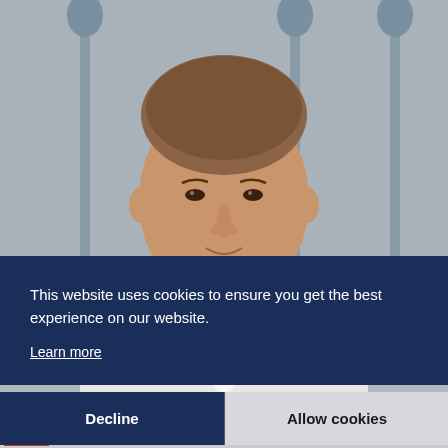[Figure (photo): Professional headshot of a young man with short hair, wearing a white button-up shirt, standing in front of a blurred grey background with decorative lamp-like structures.]
This website uses cookies to ensure you get the best experience on our website.
Learn more
Decline
Allow cookies
City